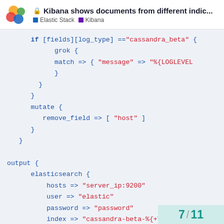Kibana shows documents from different indic... | Elastic Stack | Kibana
if [fields][log_type] =="cassandra_beta" {
    grok {
        match => { "message" => "%{LOGLEVEL
    }
}
mutate {
    remove_field => [ "host" ]
}
}

output {
    elasticsearch {
        hosts => "server_ip:9200"
        user => "elastic"
        password => "password"
        index => "cassandra-beta-%{+YYYY.MM}"
7 / 11